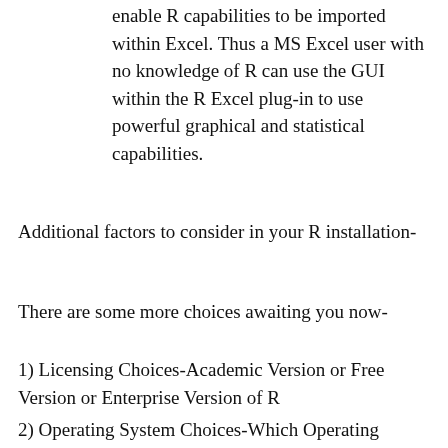enable R capabilities to be imported within Excel. Thus a MS Excel user with no knowledge of R can use the GUI within the R Excel plug-in to use powerful graphical and statistical capabilities.
Additional factors to consider in your R installation-
There are some more choices awaiting you now-
1) Licensing Choices-Academic Version or Free Version or Enterprise Version of R
2) Operating System Choices-Which Operating